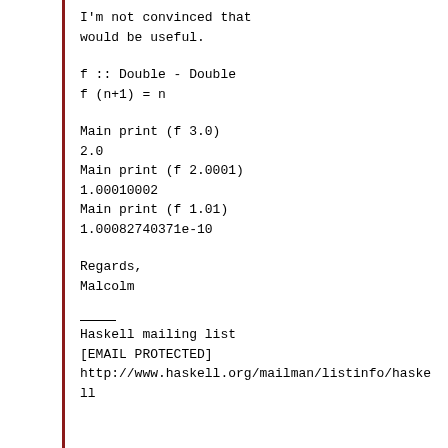I'm not convinced that
would be useful.
f :: Double - Double
f (n+1) = n
Main print (f 3.0)
2.0
Main print (f 2.0001)
1.00010002
Main print (f 1.01)
1.00082740371e-10
Regards,
Malcolm
Haskell mailing list
[EMAIL PROTECTED]
http://www.haskell.org/mailman/listinfo/haskell